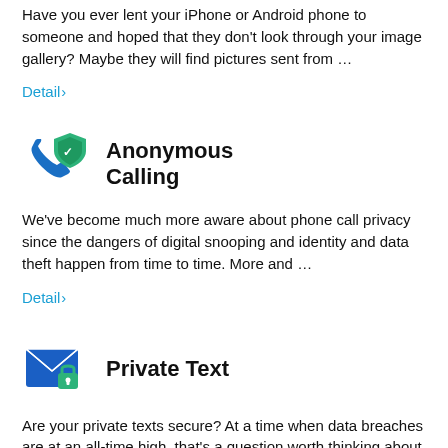Have you ever lent your iPhone or Android phone to someone and hoped that they don't look through your image gallery? Maybe they will find pictures sent from …
Detail›
[Figure (illustration): Blue phone icon with green privacy shield overlay — Anonymous Calling app icon]
Anonymous Calling
We've become much more aware about phone call privacy since the dangers of digital snooping and identity and data theft happen from time to time. More and …
Detail›
[Figure (illustration): Blue envelope icon with green padlock — Private Text app icon]
Private Text
Are your private texts secure? At a time when data breaches are at an all-time high, that's a question worth thinking about. After all, cyber hacking is not a myth, let